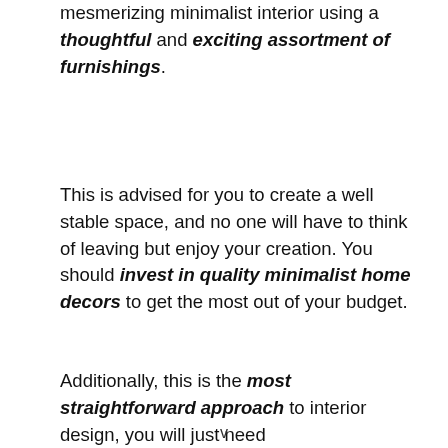mesmerizing minimalist interior using a thoughtful and exciting assortment of furnishings.
This is advised for you to create a well stable space, and no one will have to think of leaving but enjoy your creation. You should invest in quality minimalist home decors to get the most out of your budget.
Additionally, this is the most straightforward approach to interior design, you will just need
v